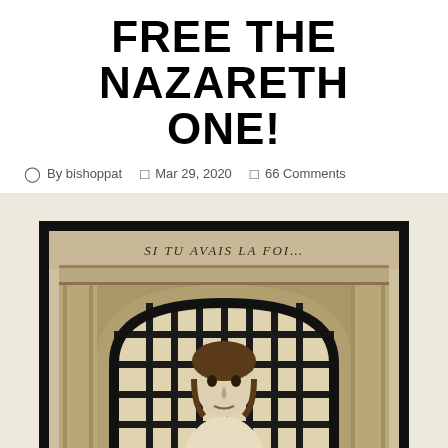FREE THE NAZARETH ONE!
By bishoppat   Mar 29, 2020   66 Comments
[Figure (illustration): Vintage engraving of a figure (resembling Jesus) behind iron bars set within a stone arch. Text above reads 'SI TU AVAIS LA FOI...' The image has a thick black frame and sepia/tan background.]